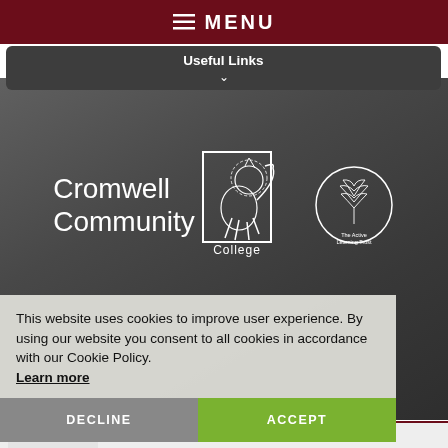MENU
Useful Links
[Figure (logo): Cromwell Community College logo with lion crest and The Active Learning Trust logo]
This website uses cookies to improve user experience. By using our website you consent to all cookies in accordance with our Cookie Policy. Learn more
DECLINE
ACCEPT